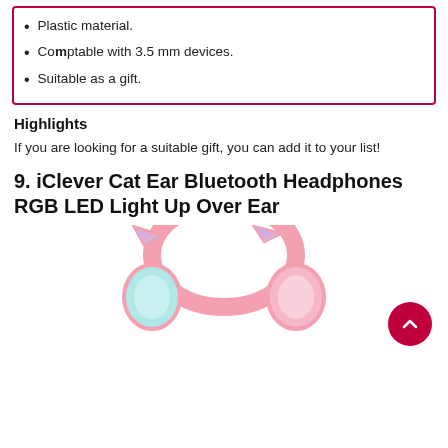Plastic material.
Comptable with 3.5 mm devices.
Suitable as a gift.
Highlights
If you are looking for a suitable gift, you can add it to your list!
9. iClever Cat Ear Bluetooth Headphones RGB LED Light Up Over Ear
[Figure (photo): Cat ear Bluetooth headphones in pink and teal with iridescent cat ear accents, viewed from front/top angle]